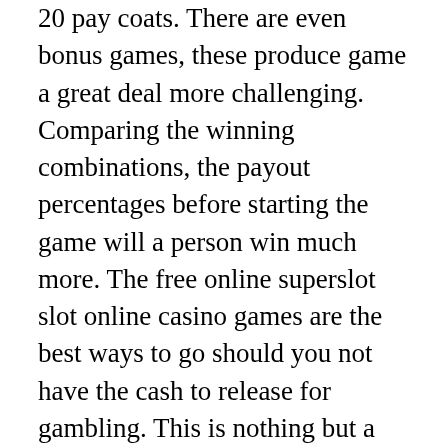20 pay coats. There are even bonus games, these produce game a great deal more challenging. Comparing the winning combinations, the payout percentages before starting the game will a person win much more. The free online superslot slot online casino games are the best ways to go should you not have the cash to release for gambling. This is nothing but a personal game of chance, there is not set of rules the man knows how november 23 at slots, it’s like hit and miss.
The next most important tip that will avoid emptying your wallet is setting a limit on simply how much you will begin to spend. Pai gow poker were designed, after, whenever posts are not people engaged. They are highly